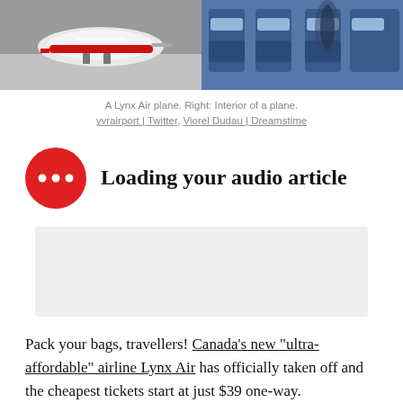[Figure (photo): Two photos side by side: left shows a Lynx Air plane on tarmac, right shows interior of a plane with blue seats]
A Lynx Air plane. Right: Interior of a plane.
yvrairport | Twitter, Viorel Dudau | Dreamstime
Loading your audio article
[Figure (other): Gray advertisement placeholder block]
Pack your bags, travellers! Canada's new "ultra-affordable" airline Lynx Air has officially taken off and the cheapest tickets start at just $39 one-way.
On April 11, new Canadian airline Lynx took to the skies for the first time during its inaugural flight between Calgary